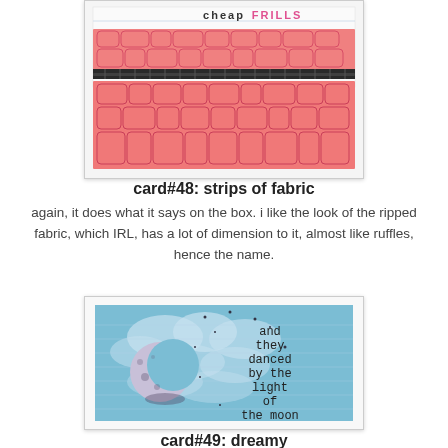[Figure (photo): A handmade card with strips of pink crocodile-textured fabric and a black zipper strip across the middle, with 'cheap FRILLS' text visible at top.]
card#48: strips of fabric
again, it does what it says on the box. i like the look of the ripped fabric, which IRL, has a lot of dimension to it, almost like ruffles, hence the name.
[Figure (photo): A handmade card with a blue watercolor background showing clouds and stars, a crescent moon on the left, and text reading 'and they danced by the light of the moon' in typewriter font on the right.]
card#49: dreamy